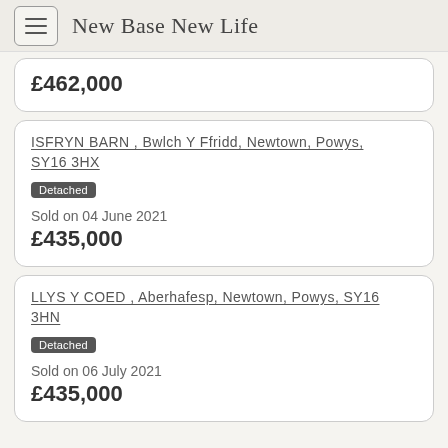New Base New Life
£462,000
ISFRYN BARN , Bwlch Y Ffridd, Newtown, Powys, SY16 3HX
Detached
Sold on 04 June 2021
£435,000
LLYS Y COED , Aberhafesp, Newtown, Powys, SY16 3HN
Detached
Sold on 06 July 2021
£435,000